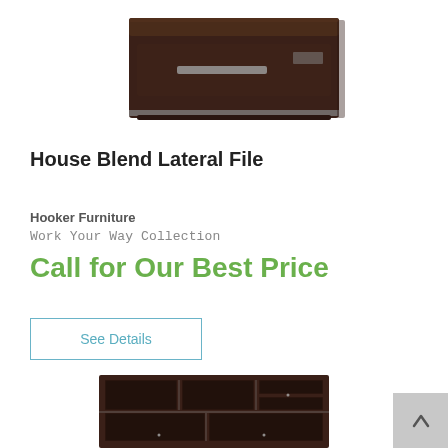[Figure (photo): Dark brown wooden lateral file cabinet with a single drawer and metal handle accent, shown from a slightly elevated angle against a white background.]
House Blend Lateral File
Hooker Furniture
Work Your Way Collection
Call for Our Best Price
See Details
[Figure (photo): Dark brown wooden bookcase/hutch with multiple open compartments and glass door inserts, shown from a slightly elevated angle against a white background.]